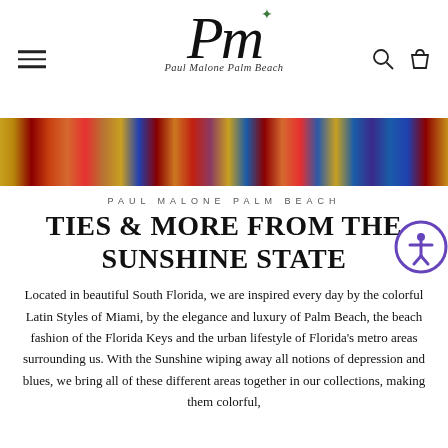[Figure (logo): Paul Malone Palm Beach cursive PM logo with small green leaf, subtitle 'Paul Malone Palm Beach' in italic script]
[Figure (photo): Colorful banner image showing a variety of vibrant silk ties in red, gold, blue, orange and other colors]
PAUL MALONE PALM BEACH
TIES & MORE FROM THE SUNSHINE STATE
Located in beautiful South Florida, we are inspired every day by the colorful Latin Styles of Miami, by the elegance and luxury of Palm Beach, the beach fashion of the Florida Keys and the urban lifestyle of Florida's metro areas surrounding us. With the Sunshine wiping away all notions of depression and blues, we bring all of these different areas together in our collections, making them colorful,